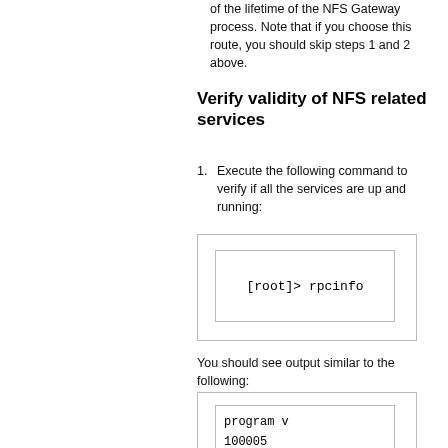of the lifetime of the NFS Gateway process. Note that if you choose this route, you should skip steps 1 and 2 above.
Verify validity of NFS related services
1. Execute the following command to verify if all the services are up and running:
[Figure (screenshot): Code box showing command: [root]> rpcinfo]
You should see output similar to the following:
[Figure (screenshot): Code box showing output with program v, 100005, 100005]